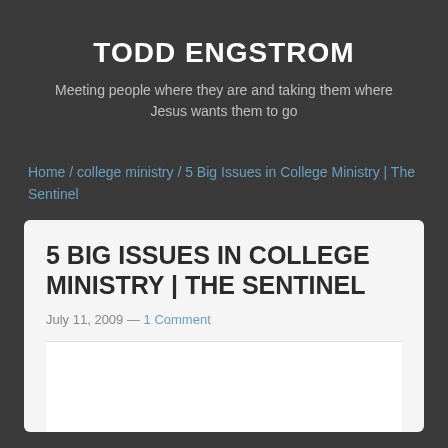TODD ENGSTROM
Meeting people where they are and taking them where Jesus wants them to go
Home / college ministry / 5 Big Issues in College Ministry | The Sentinel
5 BIG ISSUES IN COLLEGE MINISTRY | THE SENTINEL
July 11, 2009 — 1 Comment